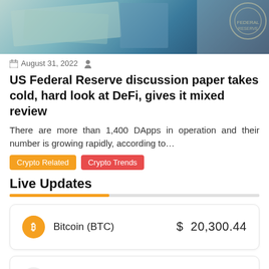[Figure (photo): Hero image showing papers/documents with a Federal Reserve seal/logo visible on the right side]
August 31, 2022
US Federal Reserve discussion paper takes cold, hard look at DeFi, gives it mixed review
There are more than 1,400 DApps in operation and their number is growing rapidly, according to…
Crypto Related
Crypto Trends
Live Updates
| Asset | Price |
| --- | --- |
| Bitcoin (BTC) | $ 20,300.44 |
| Ethereum (ETH) | $ 1,629.85 |